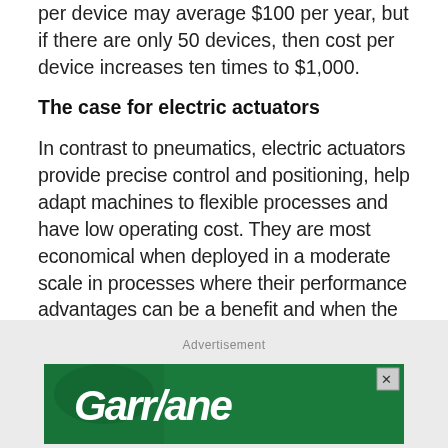per device may average $100 per year, but if there are only 50 devices, then cost per device increases ten times to $1,000.
The case for electric actuators
In contrast to pneumatics, electric actuators provide precise control and positioning, help adapt machines to flexible processes and have low operating cost. They are most economical when deployed in a moderate scale in processes where their performance advantages can be a benefit and when the electronics are separate from the actuator to segment and minimize replacement costs.
Advertisement
[Figure (other): Green advertisement banner with white italic bold text reading 'Garr/ane' (logo), with a close button (X) in the top right corner]